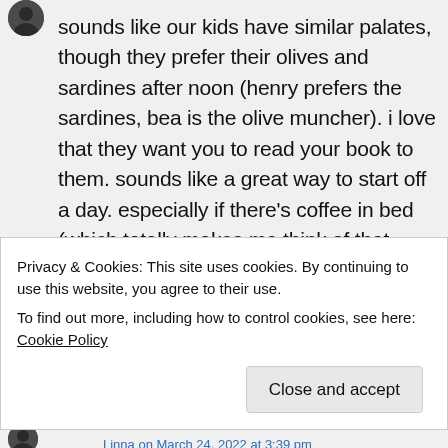sounds like our kids have similar palates, though they prefer their olives and sardines after noon (henry prefers the sardines, bea is the olive muncher). i love that they want you to read your book to them. sounds like a great way to start off a day. especially if there's coffee in bed (which totally makes me think of that song by squeeze).
↳ Reply
Privacy & Cookies: This site uses cookies. By continuing to use this website, you agree to their use.
To find out more, including how to control cookies, see here: Cookie Policy
Close and accept
Linna on March 24, 2022 at 3:39 pm